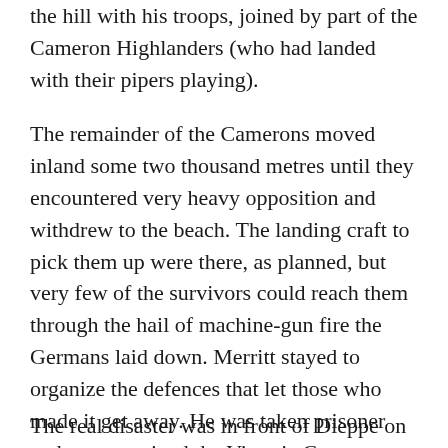the hill with his troops, joined by part of the Cameron Highlanders (who had landed with their pipers playing).
The remainder of the Camerons moved inland some two thousand metres until they encountered very heavy opposition and withdrew to the beach. The landing craft to pick them up were there, as planned, but very few of the survivors could reach them through the hail of machine-gun fire the Germans laid down. Merritt stayed to organize the defences that let those who made it get away. He was taken prisoner and soon received the Victoria Cross.
The real disaster was in front of Dieppe on the Red and